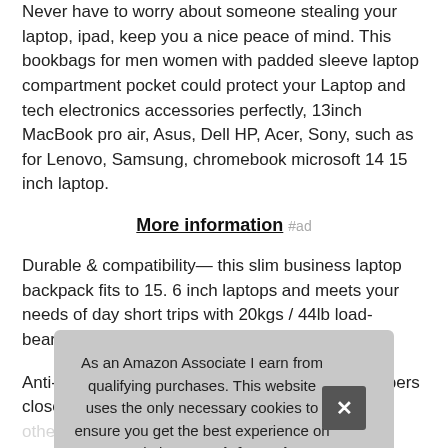Never have to worry about someone stealing your laptop, ipad, keep you a nice peace of mind. This bookbags for men women with padded sleeve laptop compartment pocket could protect your Laptop and tech electronics accessories perfectly, 13inch MacBook pro air, Asus, Dell HP, Acer, Sony, such as for Lenovo, Samsung, chromebook microsoft 14 15 inch laptop.
More information #ad
Durable & compatibility— this slim business laptop backpack fits to 15. 6 inch laptops and meets your needs of day short trips with 20kgs / 44lb load-bearing.
Anti-theft backpack: with anti-theft dual metal zippers close and other items organized and easier to find. Exclusive designed for
As an Amazon Associate I earn from qualifying purchases. This website uses the only necessary cookies to ensure you get the best experience on our website. More information